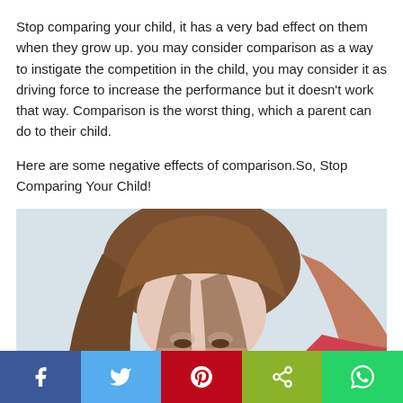Stop comparing your child, it has a very bad effect on them when they grow up. you may consider comparison as a way to instigate the competition in the child, you may consider it as driving force to increase the performance but it doesn't work that way. Comparison is the worst thing, which a parent can do to their child.
Here are some negative effects of comparison.So, Stop Comparing Your Child!
[Figure (photo): A young girl with long brown hair looking down with a sad or dejected expression, wearing a red/pink top, photographed against a light blue/grey background.]